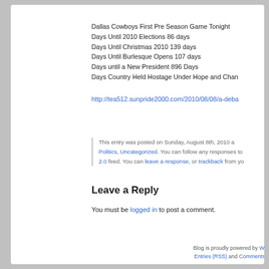Dallas Cowboys First Pre Season Game Tonight
Days Until 2010 Elections 86 days
Days Until Christmas 2010 139 days
Days Until Burlesque Opens 107 days
Days until a New President 896 Days
Days Country Held Hostage Under Hope and Chan…
http://tea512.sunpride2000.com/2010/08/08/a-deba…
This entry was posted on Sunday, August 8th, 2010 a… Politics, Uncategorized. You can follow any responses to… 2.0 feed. You can leave a response, or trackback from yo…
Leave a Reply
You must be logged in to post a comment.
Blog is proudly powered by WordP… Entries (RSS) and Comments (RS…